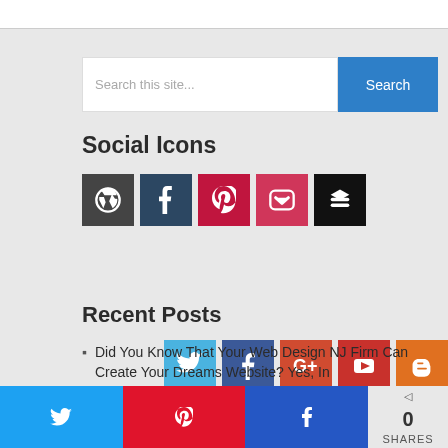[Figure (screenshot): Top white bar (partial UI element)]
[Figure (screenshot): Search bar with text 'Search this site...' and blue Search button]
Social Icons
[Figure (infographic): Two rows of social media icon buttons: Row 1: Twitter (light blue), Facebook (dark blue), Google+ (red), YouTube (red), Blogger (orange), Google (blue-purple). Row 2: WordPress (dark gray), Tumblr (dark blue), Pinterest (red), Pocket (red-pink), Buffer (black).]
Recent Posts
Did You Know That Your Web Design NJ Firm Can Create Your Dreams Website? Yes, In
[Figure (screenshot): Share bar at bottom with Twitter, Pinterest, Facebook buttons and share count showing 0 SHARES]